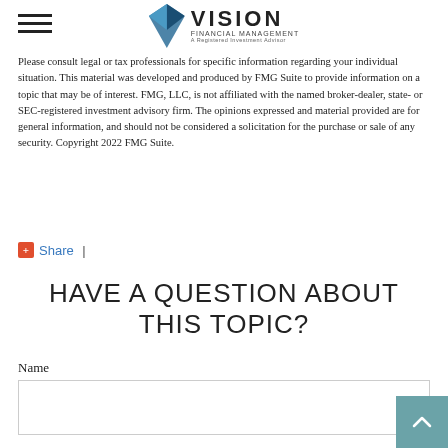Vision Financial Management
Please consult legal or tax professionals for specific information regarding your individual situation. This material was developed and produced by FMG Suite to provide information on a topic that may be of interest. FMG, LLC, is not affiliated with the named broker-dealer, state- or SEC-registered investment advisory firm. The opinions expressed and material provided are for general information, and should not be considered a solicitation for the purchase or sale of any security. Copyright 2022 FMG Suite.
Share |
HAVE A QUESTION ABOUT THIS TOPIC?
Name